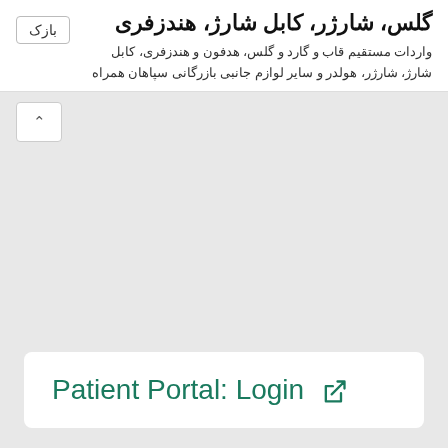گلس، شارژر، کابل شارژ، هندزفری
واردات مستقیم قاب و گارد و گلس، هدفون و هندزفری، کابل شارژ، شارژر، هولدر و سایر لوازم جانبی بازرگانی سپاهان همراه
بازک
Patient Portal: Login ↗